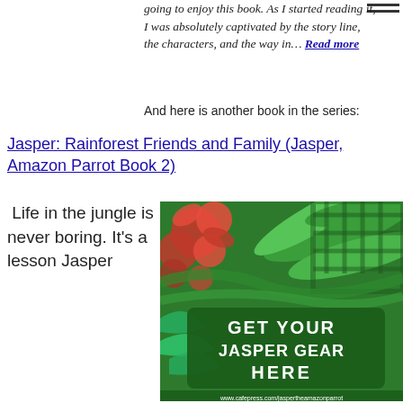going to enjoy this book. As I started reading it, I was absolutely captivated by the story line, the characters, and the way in… Read more
And here is another book in the series:
Jasper: Rainforest Friends and Family (Jasper, Amazon Parrot Book 2)
Life in the jungle is never boring. It's a lesson Jasper
[Figure (illustration): Book cover image with tropical jungle theme showing green palm leaves and red hibiscus flowers with text 'GET YOUR JASPER GEAR HERE' on a dark green banner, and URL www.cafepress.com/jaspertheamazonparrot at bottom]